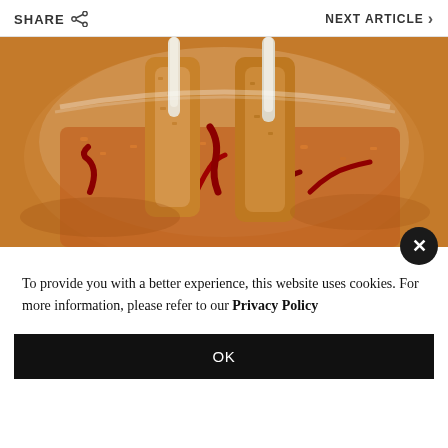SHARE | NEXT ARTICLE >
[Figure (photo): Close-up photo of breaded fried lamb chops with exposed bones held upright in a white bowl, surrounded by dried red chili peppers and orange spiced rice]
To provide you with a better experience, this website uses cookies. For more information, please refer to our Privacy Policy
OK